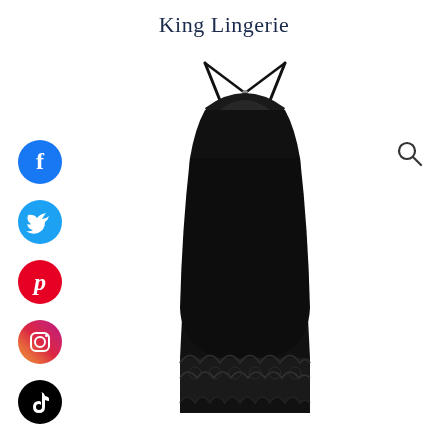King Lingerie
[Figure (photo): Black lingerie slip dress with lace back detail and lace hem, shown from the back on a white background]
[Figure (infographic): Social media icons column: Facebook (blue circle), Twitter (blue circle), Pinterest (red circle), Instagram (gradient circle), TikTok (black circle)]
[Figure (other): Search magnifying glass icon in top right corner]